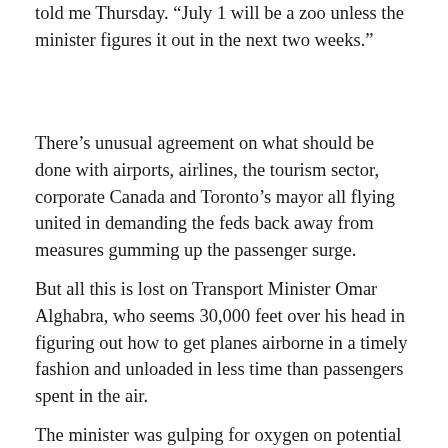told me Thursday. “July 1 will be a zoo unless the minister figures it out in the next two weeks.”
There’s unusual agreement on what should be done with airports, airlines, the tourism sector, corporate Canada and Toronto’s mayor all flying united in demanding the feds back away from measures gumming up the passenger surge.
But all this is lost on Transport Minister Omar Alghabra, who seems 30,000 feet over his head in figuring out how to get planes airborne in a timely fashion and unloaded in less time than passengers spent in the air.
The minister was gulping for oxygen on potential resolutions on his way into a caucus